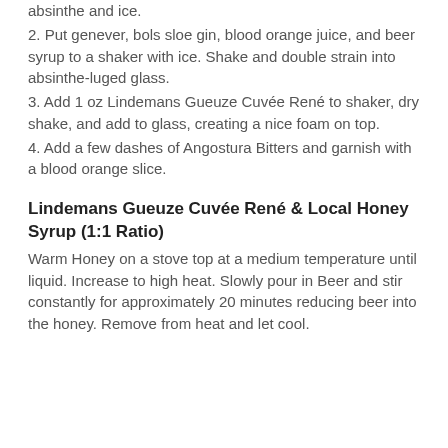absinthe and ice.
2. Put genever, bols sloe gin, blood orange juice, and beer syrup to a shaker with ice. Shake and double strain into absinthe-luged glass.
3. Add 1 oz Lindemans Gueuze Cuvée René to shaker, dry shake, and add to glass, creating a nice foam on top.
4. Add a few dashes of Angostura Bitters and garnish with a blood orange slice.
Lindemans Gueuze Cuvée René & Local Honey Syrup (1:1 Ratio)
Warm Honey on a stove top at a medium temperature until liquid. Increase to high heat. Slowly pour in Beer and stir constantly for approximately 20 minutes reducing beer into the honey. Remove from heat and let cool.